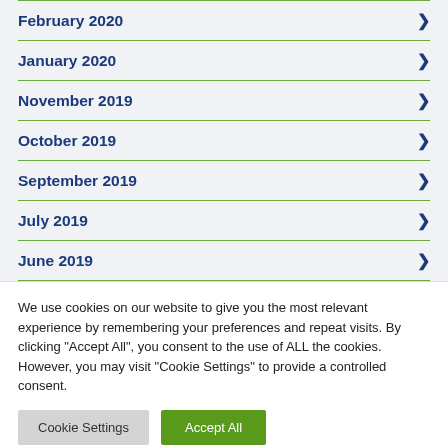February 2020
January 2020
November 2019
October 2019
September 2019
July 2019
June 2019
We use cookies on our website to give you the most relevant experience by remembering your preferences and repeat visits. By clicking "Accept All", you consent to the use of ALL the cookies. However, you may visit "Cookie Settings" to provide a controlled consent.